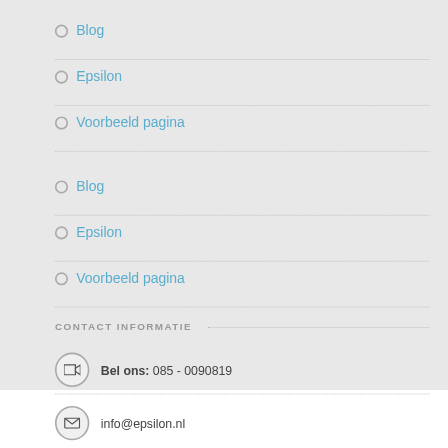Blog
Epsilon
Voorbeeld pagina
Blog
Epsilon
Voorbeeld pagina
CONTACT INFORMATIE
Bel ons: 085 - 0090819
info@epsilon.nl
Epsilon.nl maakt gebruik van ANB5 Business suite